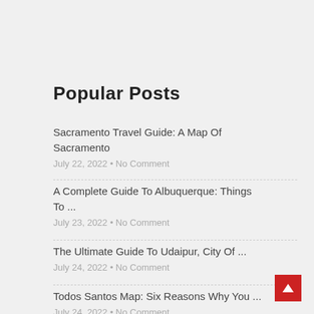Popular Posts
Sacramento Travel Guide: A Map Of Sacramento
July 22, 2022 • No Comment
A Complete Guide To Albuquerque: Things To ...
July 23, 2022 • No Comment
The Ultimate Guide To Udaipur, City Of ...
July 24, 2022 • No Comment
Todos Santos Map: Six Reasons Why You ...
July 24, 2022 • No Comment